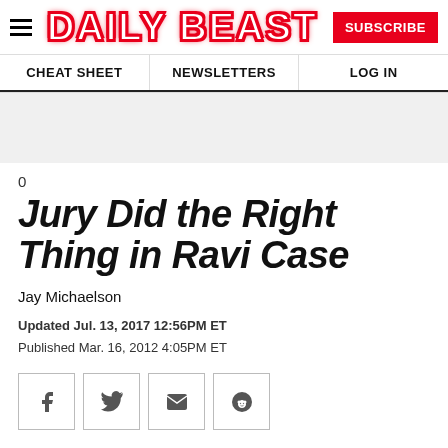DAILY BEAST — SUBSCRIBE | CHEAT SHEET | NEWSLETTERS | LOG IN
0
Jury Did the Right Thing in Ravi Case
Jay Michaelson
Updated Jul. 13, 2017 12:56PM ET
Published Mar. 16, 2012 4:05PM ET
[Figure (other): Social sharing icons: Facebook, Twitter, Email, Reddit]